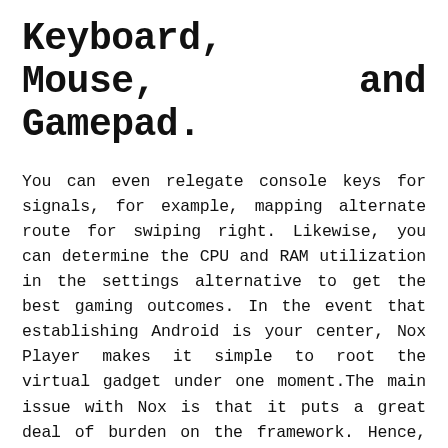Keyboard, Mouse, and Gamepad.
You can even relegate console keys for signals, for example, mapping alternate route for swiping right. Likewise, you can determine the CPU and RAM utilization in the settings alternative to get the best gaming outcomes. In the event that establishing Android is your center, Nox Player makes it simple to root the virtual gadget under one moment.The main issue with Nox is that it puts a great deal of burden on the framework. Hence, you can't utilize huge amounts of different applications. Something else is it depends on Android 5 Lollipop which may be a worry for you.